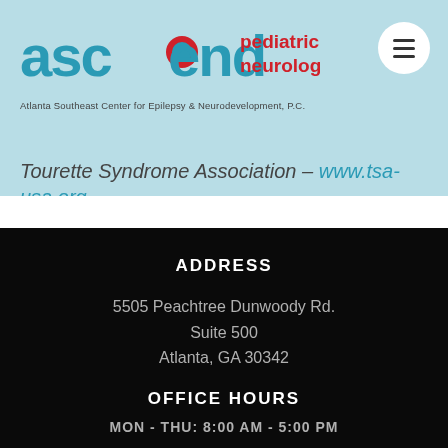[Figure (logo): Ascend Pediatric Neurology logo with tagline: Atlanta Southeast Center for Epilepsy & Neurodevelopment, P.C.]
Tourette Syndrome Association – www.tsa-usa.org
ADDRESS
5505 Peachtree Dunwoody Rd.
Suite 500
Atlanta, GA 30342
OFFICE HOURS
MON - THU: 8:00 AM - 5:00 PM